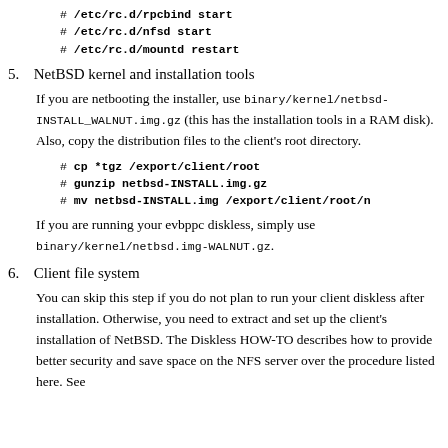# /etc/rc.d/rpcbind start
# /etc/rc.d/nfsd start
# /etc/rc.d/mountd restart
5. NetBSD kernel and installation tools
If you are netbooting the installer, use binary/kernel/netbsd-INSTALL_WALNUT.img.gz (this has the installation tools in a RAM disk). Also, copy the distribution files to the client's root directory.
# cp *tgz /export/client/root
# gunzip netbsd-INSTALL.img.gz
# mv netbsd-INSTALL.img /export/client/root/n
If you are running your evbppc diskless, simply use binary/kernel/netbsd.img-WALNUT.gz.
6. Client file system
You can skip this step if you do not plan to run your client diskless after installation. Otherwise, you need to extract and set up the client's installation of NetBSD. The Diskless HOW-TO describes how to provide better security and save space on the NFS server over the procedure listed here. See